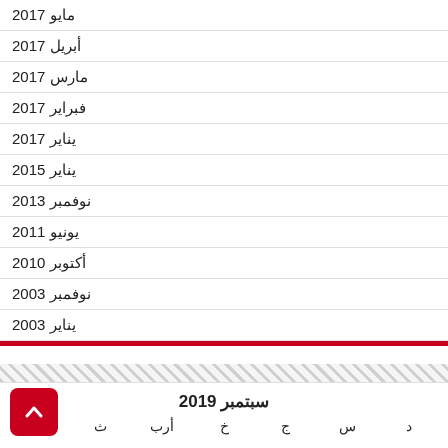مايو 2017
أبريل 2017
مارس 2017
فبراير 2017
يناير 2017
يناير 2015
نوفمبر 2013
يونيو 2011
أكتوبر 2010
نوفمبر 2003
يناير 2003
سبتمبر 2019
ن ث أرب خ ج س د